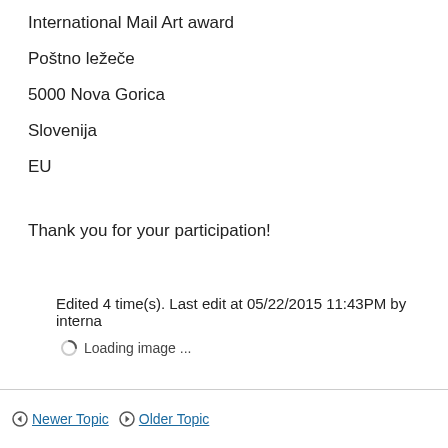International Mail Art award
Poštno ležeče
5000 Nova Gorica
Slovenija
EU
Thank you for your participation!
Edited 4 time(s). Last edit at 05/22/2015 11:43PM by interna
Loading image ...
Newer Topic   Older Topic